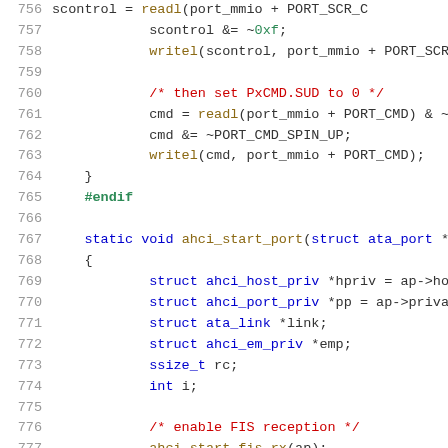[Figure (screenshot): Source code listing showing C code for AHCI driver, lines 756-777, with syntax highlighting: line numbers in gray, keywords in blue, comments in red, preprocessor directives in green, function calls in brown/gold.]